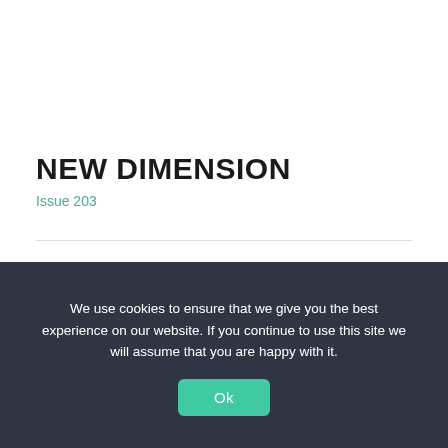NEW DIMENSION
Issue 203
Proenergy has invested $28.8 million in an advanced manufacturing initiative, starting with the recent acquisition and...
Read More →
We use cookies to ensure that we give you the best experience on our website. If you continue to use this site we will assume that you are happy with it.